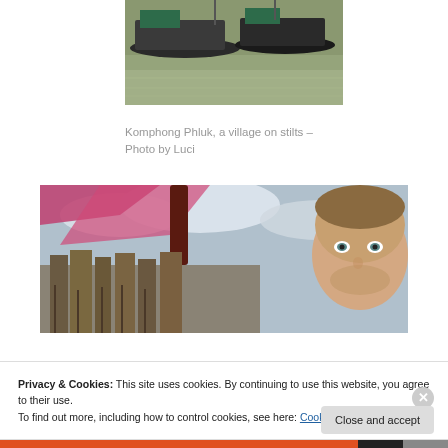[Figure (photo): Boats on water at Komphong Phluk, partially cropped at top]
Komphong Phluk, a village on stilts – Photo by Luci
[Figure (photo): A person in a boat with pink fabric canopy, stilt village and cloudy sky in background]
Privacy & Cookies: This site uses cookies. By continuing to use this website, you agree to their use.
To find out more, including how to control cookies, see here: Cookie Policy
Close and accept